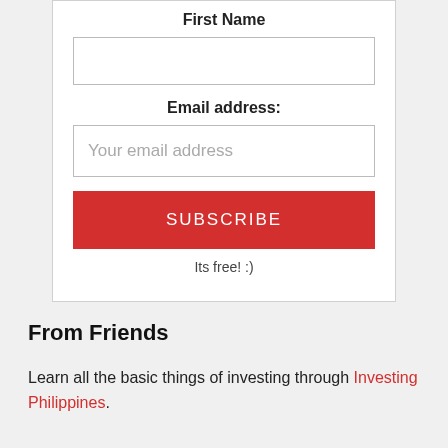First Name
[Figure (other): Empty text input field for First Name]
Email address:
[Figure (other): Text input field with placeholder 'Your email address']
[Figure (other): Red SUBSCRIBE button]
Its free! :)
From Friends
Learn all the basic things of investing through Investing Philippines.